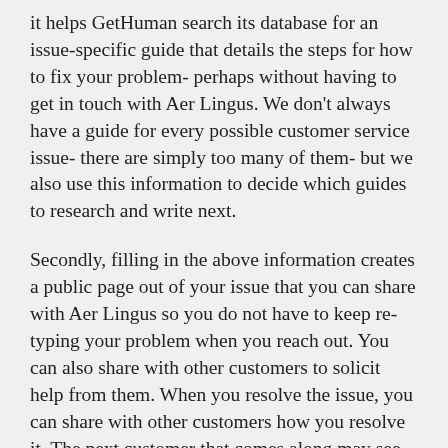it helps GetHuman search its database for an issue-specific guide that details the steps for how to fix your problem- perhaps without having to get in touch with Aer Lingus. We don't always have a guide for every possible customer service issue- there are simply too many of them- but we also use this information to decide which guides to research and write next.
Secondly, filling in the above information creates a public page out of your issue that you can share with Aer Lingus so you do not have to keep re-typing your problem when you reach out. You can also share with other customers to solicit help from them. When you resolve the issue, you can share with other customers how you resolve it. The next customer that comes along may see this and resolve their own problem faster thanks to you. You can use the links sent to your email address to edit or delete the public page created through this process at any time.